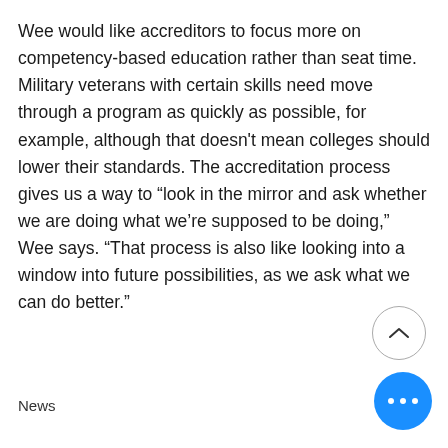Wee would like accreditors to focus more on competency-based education rather than seat time. Military veterans with certain skills need move through a program as quickly as possible, for example, although that doesn't mean colleges should lower their standards. The accreditation process gives us a way to “look in the mirror and ask whether we are doing what we're supposed to be doing,” Wee says. “That process is also like looking into a window into future possibilities, as we ask what we can do better.”
News